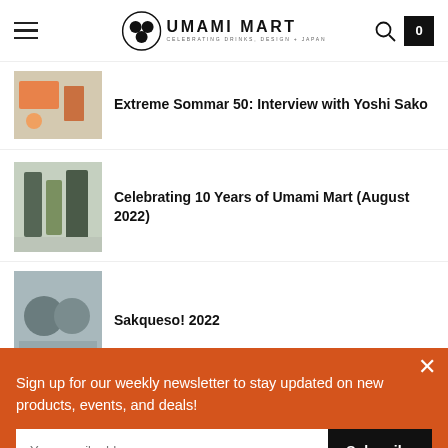UMAMI MART — Celebrating Drinks, Design + Japan
Extreme Sommar 50: Interview with Yoshi Sako
Celebrating 10 Years of Umami Mart (August 2022)
Sakqueso! 2022
Subscribe
Follow Us
Sign up for our weekly newsletter to stay updated on new products, events, and deals!